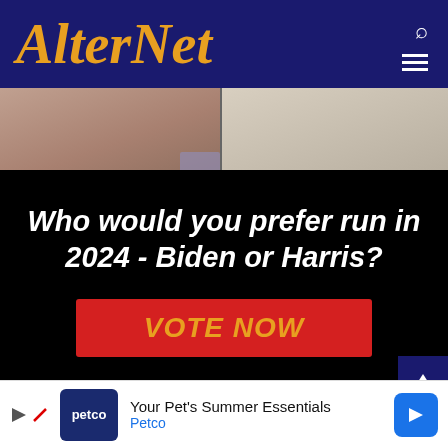AlterNet
[Figure (photo): Two cropped photos side by side showing necks/lower faces of two people (likely Kamala Harris on left, Joe Biden on right)]
Who would you prefer run in 2024 - Biden or Harris?
VOTE NOW
Understand the importance of honest news ?
[Figure (other): Petco advertisement banner: Your Pet's Summer Essentials - Petco]